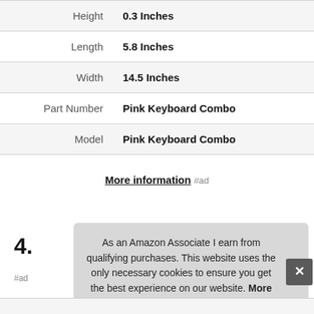| Attribute | Value |
| --- | --- |
| Height | 0.3 Inches |
| Length | 5.8 Inches |
| Width | 14.5 Inches |
| Part Number | Pink Keyboard Combo |
| Model | Pink Keyboard Combo |
More information #ad
4.
#ad
As an Amazon Associate I earn from qualifying purchases. This website uses the only necessary cookies to ensure you get the best experience on our website. More information